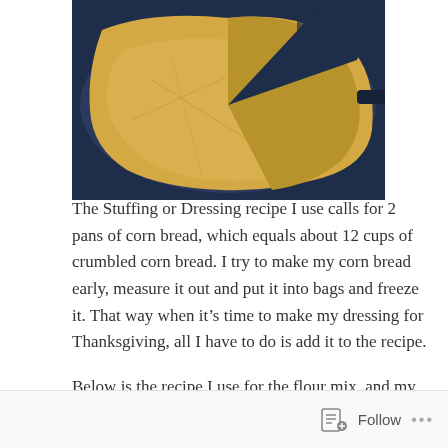[Figure (photo): A cast iron skillet containing golden-yellow cornbread with a slice cut out, photographed from above on a dark background.]
The Stuffing or Dressing recipe I use calls for 2 pans of corn bread, which equals about 12 cups of crumbled corn bread. I try to make my corn bread early, measure it out and put it into bags and freeze it. That way when it's time to make my dressing for Thanksgiving, all I have to do is add it to the recipe.

Below is the recipe I use for the flour mix, and my Gluten Free Corn Bread. I hope this helps you getting prepared for your Gluten Free Thanksgiving.
Follow ···